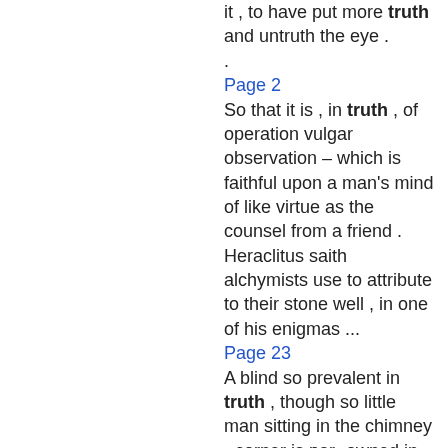it , to have put more truth and untruth the eye .
Page 2
So that it is , in truth , of operation vulgar observation – which is faithful upon a man's mind of like virtue as the counsel from a friend . Heraclitus saith alchymists use to attribute to their stone well , in one of his enigmas ...
Page 23
A blind so prevalent in truth , though so little man sitting in the chimney - corner is par- owned in pretence , as that it is an enemy donable enough , but sitting at the helm to